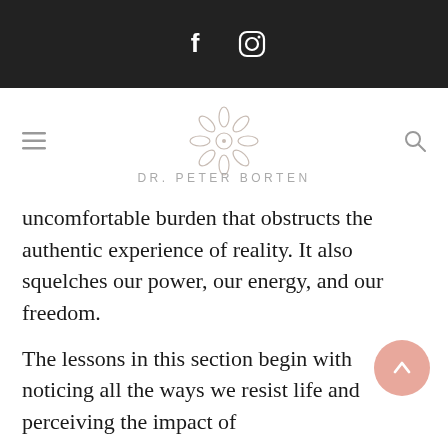Social media icons: Facebook, Instagram
[Figure (logo): DR. PETER BORTEN logo with decorative geometric floral mandala symbol above the text]
uncomfortable burden that obstructs the authentic experience of reality. It also squelches our power, our energy, and our freedom.
The lessons in this section begin with noticing all the ways we resist life and perceiving the impact of